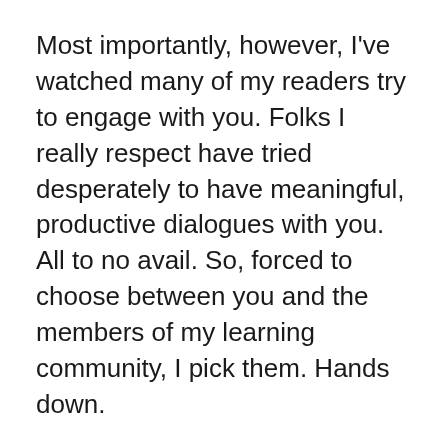Most importantly, however, I've watched many of my readers try to engage with you. Folks I really respect have tried desperately to have meaningful, productive dialogues with you. All to no avail. So, forced to choose between you and the members of my learning community, I pick them. Hands down.
It shouldn't have taken me so long to decide this. Torn between my deeply-held convictions about open dialogue and my unease with your comments, I defaulted toward openness and discussion. But Billi...